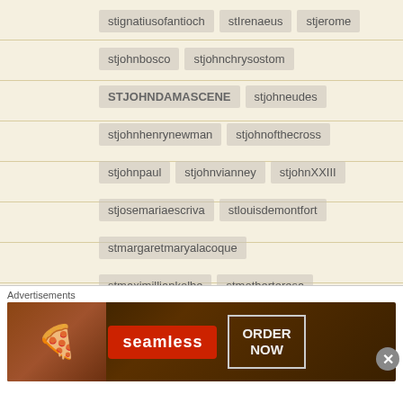stignatiusofantioch
stiIrenaeus
stjerome
stjohnbosco
stjohnchrysostom
STJOHNDAMASCENE
stjohneudes
stjohnhenrynewman
stjohnofthecross
stjohnpaul
stjohnvianney
stjohnXXIII
stjosemariaescriva
stlouisdemontfort
stmargaretmaryalacoque
stmaximilliankolbe
stmotherteresa
stpadrepio
stpaulofthecross
stpetercanisius
stpeterchrysologus
[Figure (infographic): Seamless food delivery advertisement banner with pizza imagery, Seamless logo, and ORDER NOW button]